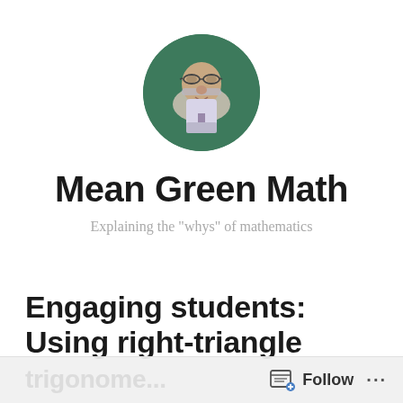[Figure (photo): Circular profile photo of a man wearing glasses against a green background]
Mean Green Math
Explaining the "whys" of mathematics
Engaging students: Using right-triangle trigonometry
Follow ...